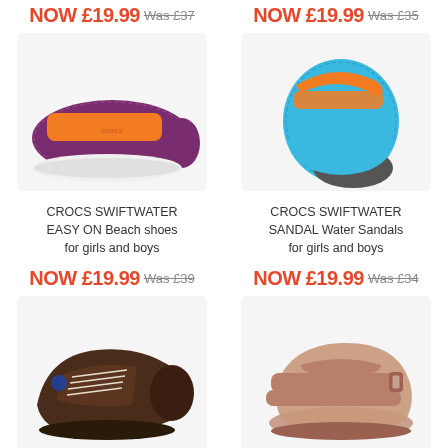NOW £19.99 Was £37 NOW £19.99 Was £35
[Figure (photo): Purple and orange Crocs Swiftwater Easy On beach shoe for kids]
[Figure (photo): Blue and orange Crocs Swiftwater Sandal water sandal for kids]
CROCS SWIFTWATER EASY ON Beach shoes for girls and boys
CROCS SWIFTWATER SANDAL Water Sandals for girls and boys
NOW £19.99 Was £39 NOW £19.99 Was £34
[Figure (photo): Dark brown lace-up kids shoe]
[Figure (photo): Pink/rose sandal for kids]